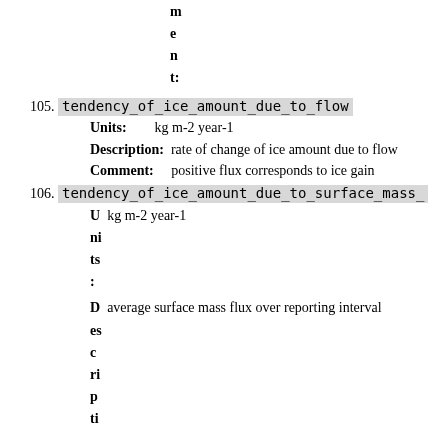m
e
n
t:
105. tendency_of_ice_amount_due_to_flow
  Units: kg m-2 year-1
  Description: rate of change of ice amount due to flow
  Comment: positive flux corresponds to ice gain
106. tendency_of_ice_amount_due_to_surface_mass_
  Units: kg m-2 year-1
  Description: average surface mass flux over reporting interval
  (D es c ri p ti)